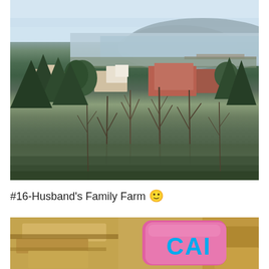[Figure (photo): Aerial/elevated view of a small riverside town with trees in foreground, buildings in middle ground, a river and hills/mountains in background. Taken during early spring when trees are mostly bare.]
#16-Husband's Family Farm 🙂
[Figure (photo): Close-up photo of rocky sandstone or limestone formations with a colorful pink/magenta item with blue letters 'CAI' visible on the right side. Partial image cropped at bottom of page.]